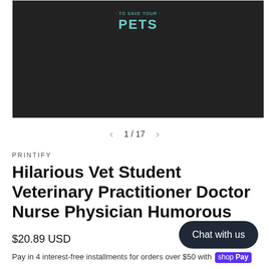[Figure (photo): Black t-shirt with teal text reading 'TO SAVE YOUR PETS' on a product listing page]
1 / 17
PRINTIFY
Hilarious Vet Student Veterinary Practitioner Doctor Nurse Physician Humorous
$20.89 USD
Chat with us
Pay in 4 interest-free installments for orders over $50 with shop Pay